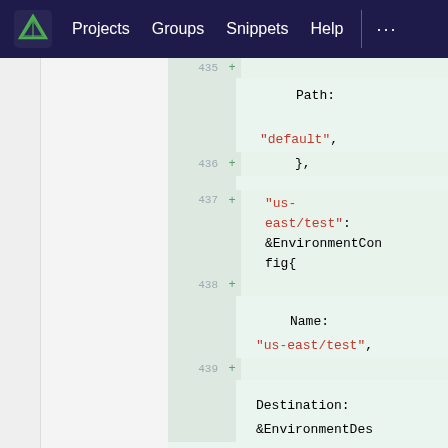Projects  Groups  Snippets  Help
[Figure (screenshot): GitLab-style code diff view showing added lines 436-439 of a Go/YAML file. Lines show: Path: "default", }, "us-east/test": &EnvironmentConfig{ Name: "us-east/test", Destination: &EnvironmentDes]
Path:
"default",
},
"us-east/test": &EnvironmentConfig{
Name:
"us-east/test",
Destination:
&EnvironmentDes